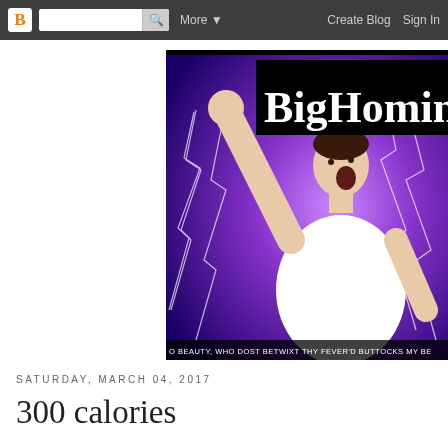Blogger navigation bar with logo, search, More, Create Blog, Sign In
[Figure (photo): Blog header image for BigHomini blog showing a large man in a white shirt raising one arm dramatically against a blue and purple lightning-storm background. A black banner at top reads 'BigHomini' in white serif text. Bottom caption reads 'O BEAUTY, WHO DOST BETWIXT THY FEVER'D BUTTOCKS MY BE'.]
SATURDAY, MARCH 04, 2017
300 calories